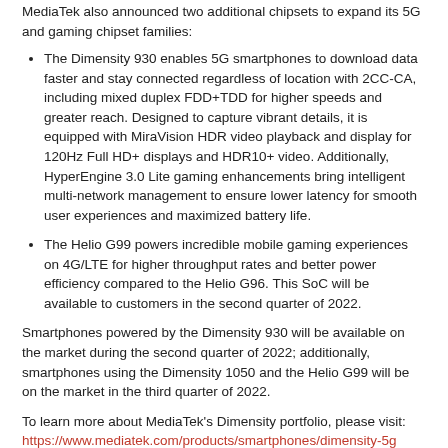MediaTek also announced two additional chipsets to expand its 5G and gaming chipset families:
The Dimensity 930 enables 5G smartphones to download data faster and stay connected regardless of location with 2CC-CA, including mixed duplex FDD+TDD for higher speeds and greater reach. Designed to capture vibrant details, it is equipped with MiraVision HDR video playback and display for 120Hz Full HD+ displays and HDR10+ video. Additionally, HyperEngine 3.0 Lite gaming enhancements bring intelligent multi-network management to ensure lower latency for smooth user experiences and maximized battery life.
The Helio G99 powers incredible mobile gaming experiences on 4G/LTE for higher throughput rates and better power efficiency compared to the Helio G96. This SoC will be available to customers in the second quarter of 2022.
Smartphones powered by the Dimensity 930 will be available on the market during the second quarter of 2022; additionally, smartphones using the Dimensity 1050 and the Helio G99 will be on the market in the third quarter of 2022.
To learn more about MediaTek's Dimensity portfolio, please visit:
https://www.mediatek.com/products/smartphones/dimensity-5g